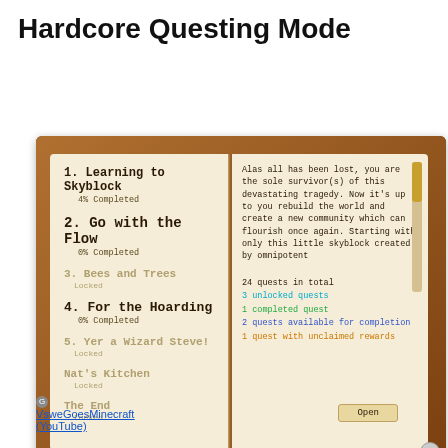Hardcore Questing Mode
[Figure (screenshot): Minecraft Hardcore Questing Mode in-game book UI showing a two-page spread. Left page lists quests: 1. Learning to Skyblock (4% Completed), 2. Go with the Flow (0% Completed), 3. Bees and Trees (Locked), 4. For the Hoarding (0% Completed), 5. Yer a Wizard Steve! (Locked), 6. Nat's Kitchen (Locked), 7. The End (Locked). Right page shows description text and stats: 24 quests in total, 3 unlocked quests, 1 completed quest, 2 quests available for completion, 1 quest with unclaimed rewards. An Open button is visible at the bottom right.]
VsweGoesMinecraft (YouTube)